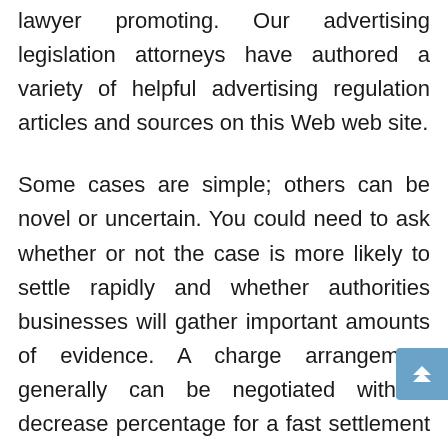lawyer promoting. Our advertising legislation attorneys have authored a variety of helpful advertising regulation articles and sources on this Web web site.
Some cases are simple; others can be novel or uncertain. You could need to ask whether or not the case is more likely to settle rapidly and whether authorities businesses will gather important amounts of evidence. A charge arrangement generally can be negotiated with a decrease percentage for a fast settlement and a higher percentage if it goes to trial. Your state additionally could have guidelines about most contingency charges; verify with your state's bar association.